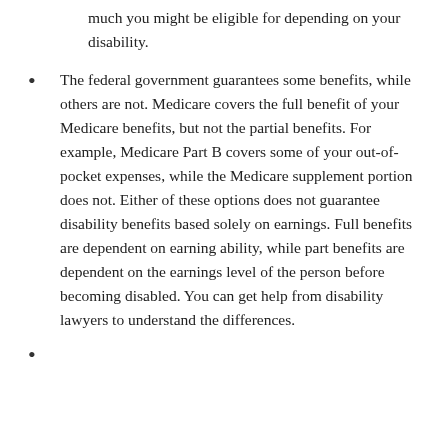much you might be eligible for depending on your disability.
The federal government guarantees some benefits, while others are not. Medicare covers the full benefit of your Medicare benefits, but not the partial benefits. For example, Medicare Part B covers some of your out-of-pocket expenses, while the Medicare supplement portion does not. Either of these options does not guarantee disability benefits based solely on earnings. Full benefits are dependent on earning ability, while part benefits are dependent on the earnings level of the person before becoming disabled. You can get help from disability lawyers to understand the differences.